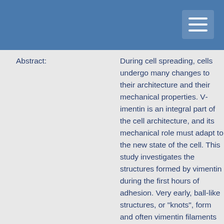Abstract:
During cell spreading, cells undergo many changes to their architecture and their mechanical properties. Vimentin is an integral part of the cell architecture, and its mechanical role must adapt to the new state of the cell. This study investigates the structures formed by vimentin during the first hours of adhesion. Very early, ball-like structures, or "knots", form and often vimentin filaments emerge in the shape of rings around the nucleus. Although intermediate filaments are not known to be associated to motor proteins to form contractile systems, these rings can nonetheless strongly constrict the nucleus. In the first 6 to 12 h of adhesion, these knots and rings disappear, and the intermediate filament network returns to the state seen before detachment of the cells. Because these vimentin structures are very transient in the early stages of cell spreading, they have rarely been described in the literature. However, they can also be seen during mitosis, which is an event that involves partial detachment and re-spreading of the cells. Interestingly, the turnover of soluble vimentin are reduced in both the knots and rings compared to vimentin in the lamellipodia. It remains to define